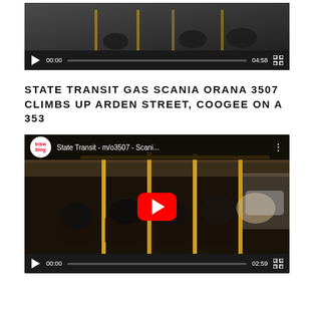[Figure (screenshot): Video player showing a bus/transit video with controls bar showing 00:00 current time and 04:58 duration]
STATE TRANSIT GAS SCANIA ORANA 3507 CLIMBS UP ARDEN STREET, COOGEE ON A 353
[Figure (screenshot): YouTube embedded video thumbnail showing interior of a bus with yellow poles and passengers, titled 'State Transit - m/o3507 - Scani...' with tnsw blog logo. Controls show 00:00 current time and 02:59 duration.]